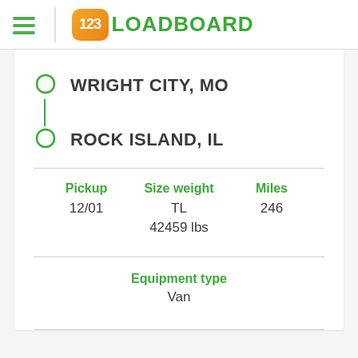[Figure (logo): 123Loadboard logo with orange rounded square and green text]
WRIGHT CITY, MO
ROCK ISLAND, IL
Pickup
12/01
Size weight
TL
42459 lbs
Miles
246
Equipment type
Van